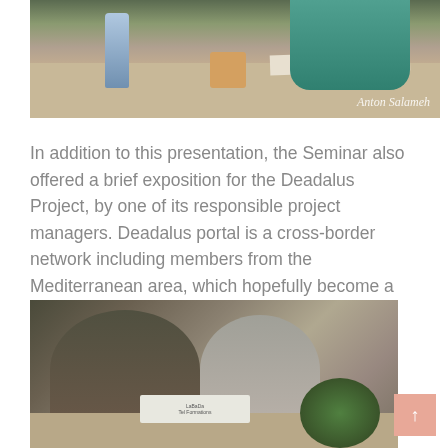[Figure (photo): Photo of people seated at a table with water bottles, a coffee cup, papers. A person in teal/floral top is visible. Watermark reads 'Anton Salameh' in italic script at bottom right.]
In addition to this presentation, the Seminar also offered a brief exposition for the Deadalus Project, by one of its responsible project managers. Deadalus portal is a cross-border network including members from the Mediterranean area, which hopefully become a useful tool for youth across the Mediterranean zone.
[Figure (photo): Photo of two men looking down at documents on a table. A name card and plant are visible in the foreground.]